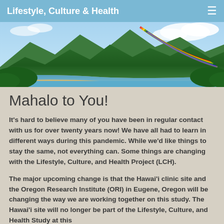Lifestyle, Culture & Health
[Figure (photo): Scenic Hawaiian landscape with mountains, ocean, beach, and a rainbow arching over lush green peaks under a partly cloudy blue sky.]
Mahalo to You!
It's hard to believe many of you have been in regular contact with us for over twenty years now! We have all had to learn in different ways during this pandemic. While we'd like things to stay the same, not everything can. Some things are changing with the Lifestyle, Culture, and Health Project (LCH).
The major upcoming change is that the Hawai'i clinic site and the Oregon Research Institute (ORI) in Eugene, Oregon will be changing the way we are working together on this study. The Hawai'i site will no longer be part of the Lifestyle, Culture, and Health Study at this